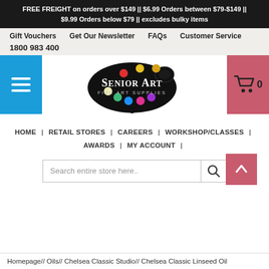FREE FREIGHT on orders over $149 || $6.99 Orders between $79-$149 || $9.99 Orders below $79 || excludes bulky items
Gift Vouchers
Get Our Newsletter
FAQs
Customer Service
1800 983 400
[Figure (logo): Senior Art Fine Art Supplies logo — artist palette shape in black with coloured paint dots, white text reading SENIOR ART FINE ART SUPPLIES]
HOME | RETAIL STORES | CAREERS | WORKSHOP/CLASSES | AWARDS | MY ACCOUNT |
Search entire store here..
Homepage// Oils// Chelsea Classic Studio// Chelsea Classic Linseed Oil